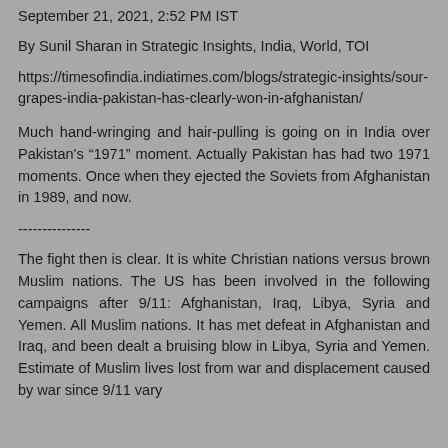September 21, 2021, 2:52 PM IST
By Sunil Sharan in Strategic Insights, India, World, TOI
https://timesofindia.indiatimes.com/blogs/strategic-insights/sour-grapes-india-pakistan-has-clearly-won-in-afghanistan/
Much hand-wringing and hair-pulling is going on in India over Pakistan's “1971” moment. Actually Pakistan has had two 1971 moments. Once when they ejected the Soviets from Afghanistan in 1989, and now.
---------------
The fight then is clear. It is white Christian nations versus brown Muslim nations. The US has been involved in the following campaigns after 9/11: Afghanistan, Iraq, Libya, Syria and Yemen. All Muslim nations. It has met defeat in Afghanistan and Iraq, and been dealt a bruising blow in Libya, Syria and Yemen. Estimate of Muslim lives lost from war and displacement caused by war since 9/11 vary